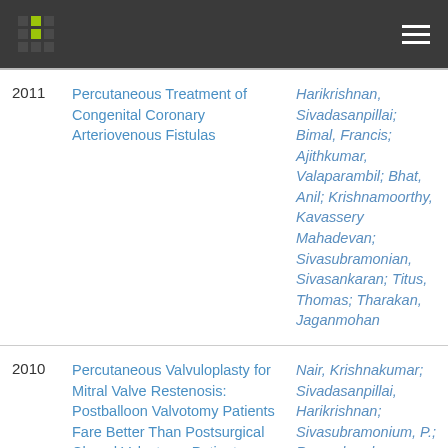| Year | Title | Authors |
| --- | --- | --- |
| 2011 | Percutaneous Treatment of Congenital Coronary Arteriovenous Fistulas | Harikrishnan, Sivadasanpillai; Bimal, Francis; Ajithkumar, Valaparambil; Bhat, Anil; Krishnamoorthy, Kavassery Mahadevan; Sivasubramonian, Sivasankaran; Titus, Thomas; Tharakan, Jaganmohan |
| 2010 | Percutaneous Valvuloplasty for Mitral Valve Restenosis: Postballoon Valvotomy Patients Fare Better Than Postsurgical Closed Valvotomy Patients | Nair, Krishnakumar; Sivadasanpillai, Harikrishnan; Sivasubramonium, P.; Ramachandran, Padmakumar; Tharakan, |